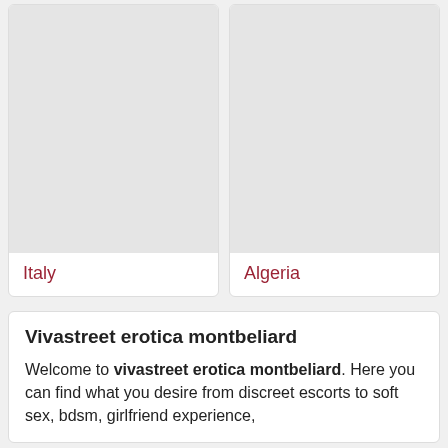[Figure (photo): Card with gray placeholder image labeled Italy]
Italy
[Figure (photo): Card with gray placeholder image labeled Algeria]
Algeria
Vivastreet erotica montbeliard
Welcome to vivastreet erotica montbeliard. Here you can find what you desire from discreet escorts to soft sex, bdsm, girlfriend experience,